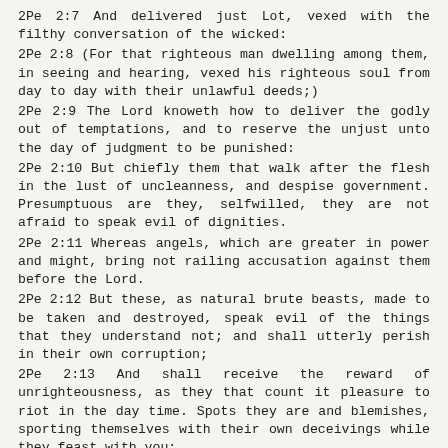2Pe 2:7  And delivered just Lot, vexed with the filthy conversation of the wicked:
2Pe 2:8  (For that righteous man dwelling among them, in seeing and hearing, vexed his righteous soul from day to day with their unlawful deeds;)
2Pe 2:9  The Lord knoweth how to deliver the godly out of temptations, and to reserve the unjust unto the day of judgment to be punished:
2Pe 2:10  But chiefly them that walk after the flesh in the lust of uncleanness, and despise government. Presumptuous are they, selfwilled, they are not afraid to speak evil of dignities.
2Pe 2:11  Whereas angels, which are greater in power and might, bring not railing accusation against them before the Lord.
2Pe 2:12  But these, as natural brute beasts, made to be taken and destroyed, speak evil of the things that they understand not; and shall utterly perish in their own corruption;
2Pe 2:13  And shall receive the reward of unrighteousness, as they that count it pleasure to riot in the day time. Spots they are and blemishes, sporting themselves with their own deceivings while they feast with you;
2Pe 2:14  Having eyes full of adultery, and that cannot cease from